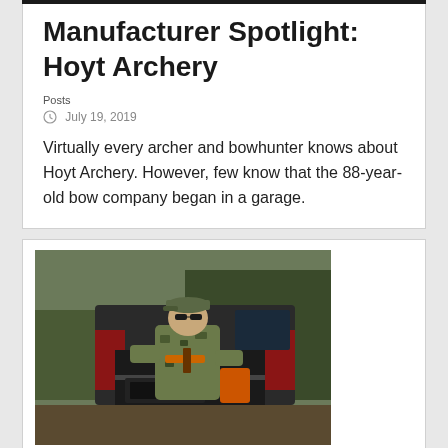Manufacturer Spotlight: Hoyt Archery
Posts
July 19, 2019
Virtually every archer and bowhunter knows about Hoyt Archery. However, few know that the 88-year-old bow company began in a garage.
[Figure (photo): A hunter in camouflage clothing and cap, handling archery equipment at the back of a pickup truck, outdoors with trees in background.]
Do You Stock Whitetail Specifi...